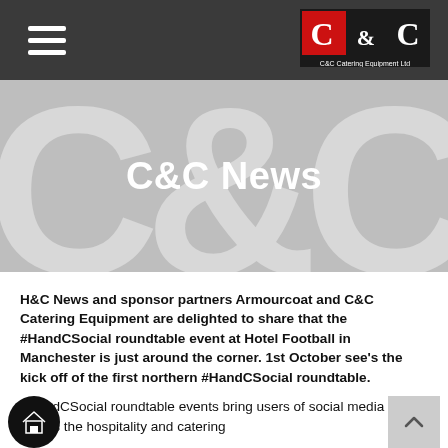[Figure (logo): C&C Catering Equipment Ltd logo — red and black squares with white C&C lettering]
C&C News
H&C News and sponsor partners Armourcoat and C&C Catering Equipment are delighted to share that the #HandCSocial roundtable event at Hotel Football in Manchester is just around the corner. 1st October see's the kick off of the first northern #HandCSocial roundtable.
#HandCSocial roundtable events bring users of social media across the hospitality and catering